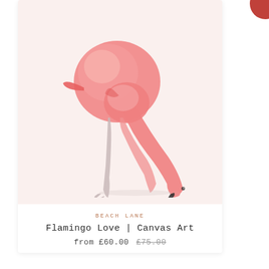[Figure (illustration): A watercolor-style painting of a pink flamingo bending its long neck downward, with thin pale legs, against a pale blush/cream background. The bird is depicted bowing with its beak pointing toward the ground.]
BEACH LANE
Flamingo Love | Canvas Art
from £60.00 £75.00